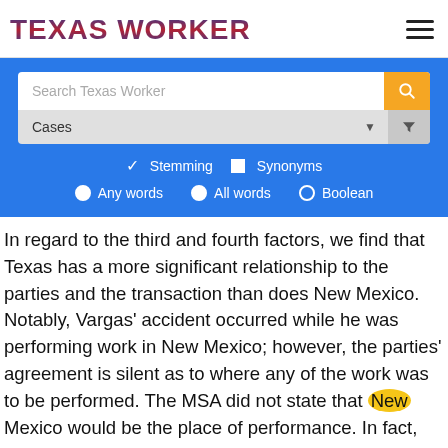TEXAS WORKER
[Figure (screenshot): Search interface with search box, Cases dropdown filter, Stemming/Synonyms checkboxes, and Any words/All words/Boolean radio buttons on blue background]
In regard to the third and fourth factors, we find that Texas has a more significant relationship to the parties and the transaction than does New Mexico. Notably, Vargas' accident occurred while he was performing work in New Mexico; however, the parties' agreement is silent as to where any of the work was to be performed. The MSA did not state that New Mexico would be the place of performance. In fact, there is no